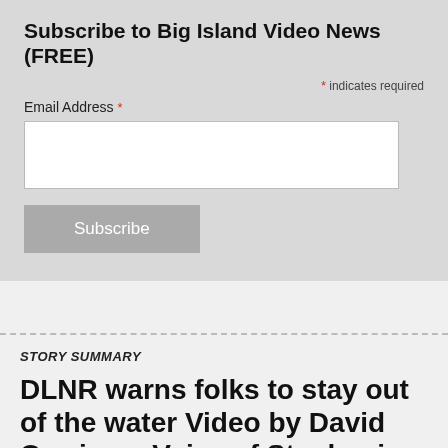Subscribe to Big Island Video News (FREE)
* indicates required
Email Address *
Subscribe
STORY SUMMARY
DLNR warns folks to stay out of the water Video by David Corrigan, Voice of Stephanie Salazar HAWAIIAN BEACHES,